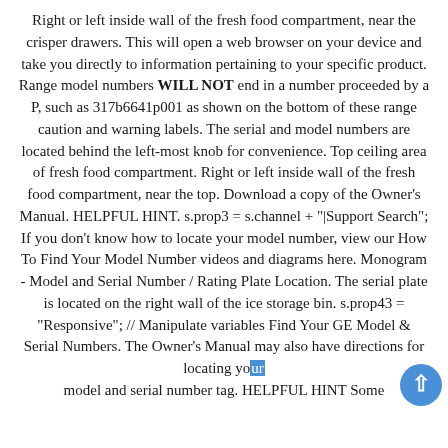Right or left inside wall of the fresh food compartment, near the crisper drawers. This will open a web browser on your device and take you directly to information pertaining to your specific product. Range model numbers WILL NOT end in a number proceeded by a P, such as 317b6641p001 as shown on the bottom of these range caution and warning labels. The serial and model numbers are located behind the left-most knob for convenience. Top ceiling area of fresh food compartment. Right or left inside wall of the fresh food compartment, near the top. Download a copy of the Owner's Manual. HELPFUL HINT. s.prop3 = s.channel + "|Support Search"; If you don't know how to locate your model number, view our How To Find Your Model Number videos and diagrams here. Monogram - Model and Serial Number / Rating Plate Location. The serial plate is located on the right wall of the ice storage bin. s.prop43 = "Responsive"; // Manipulate variables Find Your GE Model & Serial Numbers. The Owner's Manual may also have directions for locating your model and serial number tag. HELPFUL HINT Some